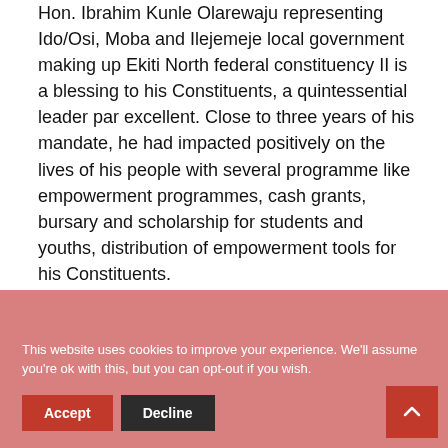Hon. Ibrahim Kunle Olarewaju representing Ido/Osi, Moba and Ilejemeje local government making up Ekiti North federal constituency II is a blessing to his Constituents, a quintessential leader par excellent. Close to three years of his mandate, he had impacted positively on the lives of his people with several programme like empowerment programmes, cash grants, bursary and scholarship for students and youths, distribution of empowerment tools for his Constituents.
This website uses cookies to improve your experience. We'll assume you're ok with this, but you can opt-out if you wish.